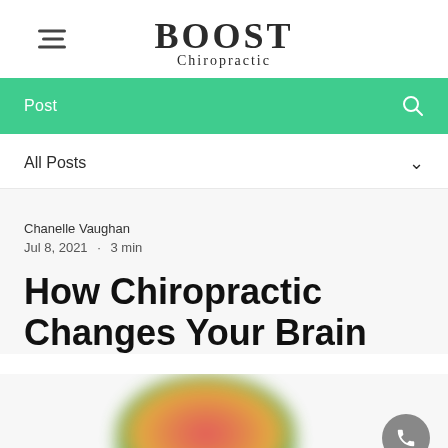BOOST Chiropractic
Post
All Posts
Chanelle Vaughan
Jul 8, 2021  ·  3 min
How Chiropractic Changes Your Brain
[Figure (photo): Colorful blurred brain image, partially visible at bottom of page]